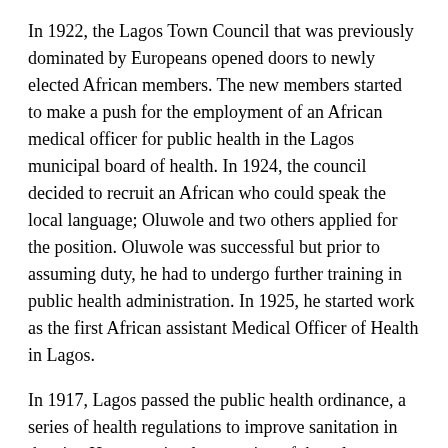In 1922, the Lagos Town Council that was previously dominated by Europeans opened doors to newly elected African members. The new members started to make a push for the employment of an African medical officer for public health in the Lagos municipal board of health. In 1924, the council decided to recruit an African who could speak the local language; Oluwole and two others applied for the position. Oluwole was successful but prior to assuming duty, he had to undergo further training in public health administration. In 1925, he started work as the first African assistant Medical Officer of Health in Lagos.
In 1917, Lagos passed the public health ordinance, a series of health regulations to improve sanitation in the city. However, implementation of the rules was hampered by the limited number of trained personnel. Oluwole then founded the first School of Hygiene in Nigeria, at Yaba, Lagos, providing training to Sanitary Inspectors from all parts of Nigeria. On graduation they obtained the Diploma of the Royal Institute of Public Health, London.